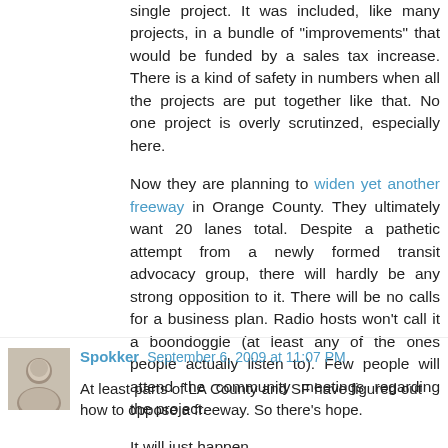single project. It was included, like many projects, in a bundle of "improvements" that would be funded by a sales tax increase. There is a kind of safety in numbers when all the projects are put together like that. No one project is overly scrutinzed, especially here.
Now they are planning to widen yet another freeway in Orange County. They ultimately want 20 lanes total. Despite a pathetic attempt from a newly formed transit advocacy group, there will hardly be any strong opposition to it. There will be no calls for a business plan. Radio hosts won't call it a boondoggle (at least any of the ones people actually listen to). Few people will attend the community meetings regarding the project.
It will just happen.
Reply
Spokker September 6, 2009 at 11:07 PM
At least parts of LA County and SF have figured out how to oppose a freeway. So there's hope.